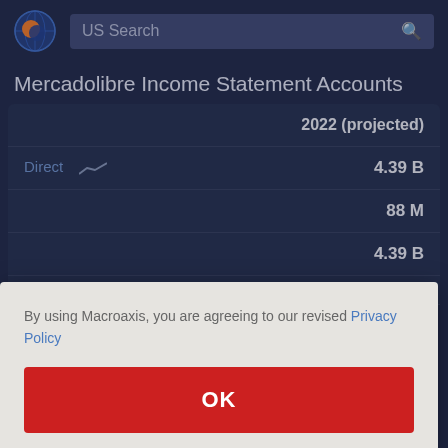[Figure (logo): Macroaxis globe logo with orange and blue colors]
US Search
Mercadolibre Income Statement Accounts
|  | 2022 (projected) |
| --- | --- |
| Direct | 4.39 B |
|  | 88 M |
|  | 4.39 B |
|  | 407.40 M |
By using Macroaxis, you are agreeing to our revised Privacy Policy
OK